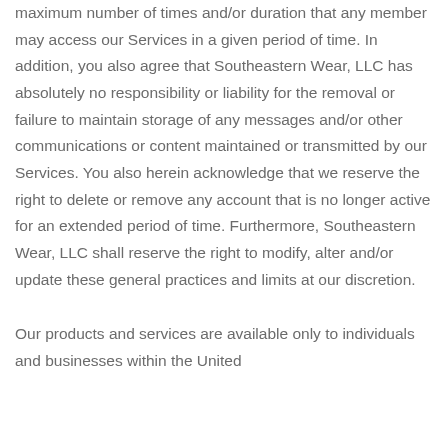maximum number of times and/or duration that any member may access our Services in a given period of time. In addition, you also agree that Southeastern Wear, LLC has absolutely no responsibility or liability for the removal or failure to maintain storage of any messages and/or other communications or content maintained or transmitted by our Services. You also herein acknowledge that we reserve the right to delete or remove any account that is no longer active for an extended period of time. Furthermore, Southeastern Wear, LLC shall reserve the right to modify, alter and/or update these general practices and limits at our discretion.
Our products and services are available only to individuals and businesses within the United